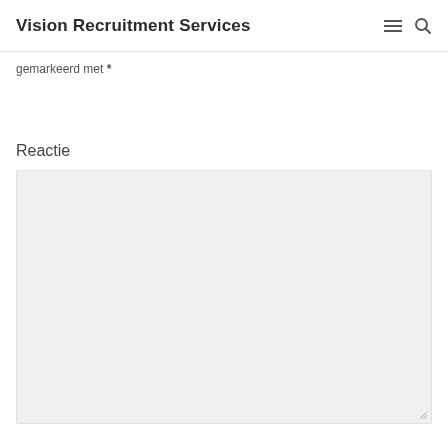Vision Recruitment Services
gemarkeerd met *
Reactie
[Figure (other): Empty textarea input field with light gray background and resize handle]